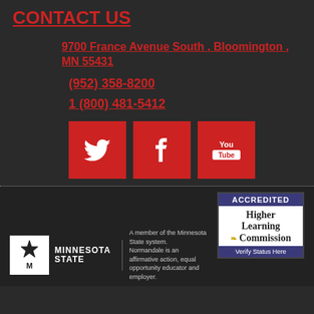CONTACT US
9700 France Avenue South , Bloomington , MN 55431
(952) 358-8200
1 (800) 481-5412
[Figure (illustration): Three red social media icon buttons: Twitter bird icon, Facebook 'f' icon, and YouTube logo icon]
[Figure (logo): Accredited Higher Learning Commission badge with 'Verify Status Here' button]
[Figure (logo): Minnesota State logo with star/snowflake icon and 'Minnesota State' text]
A member of the Minnesota State system. Normandale is an affirmative action, equal opportunity educator and employer.